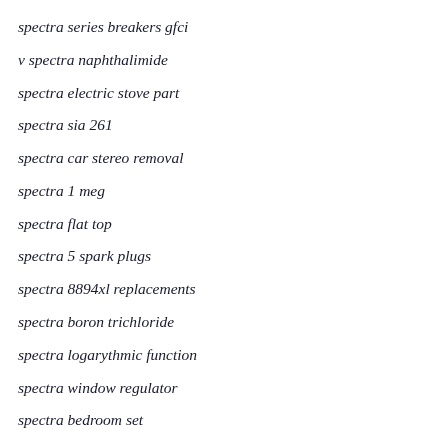spectra series breakers gfci
v spectra naphthalimide
spectra electric stove part
spectra sia 261
spectra car stereo removal
spectra 1 meg
spectra flat top
spectra 5 spark plugs
spectra 8894xl replacements
spectra boron trichloride
spectra logarythmic function
spectra window regulator
spectra bedroom set